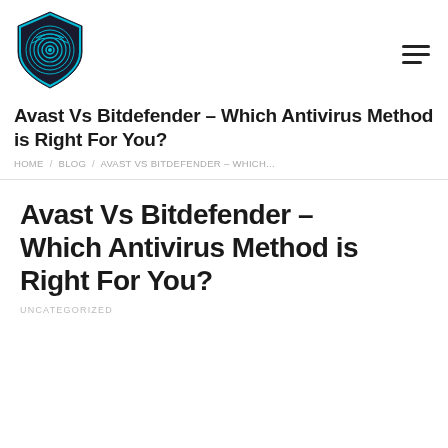[Figure (logo): Shield-shaped logo with fingerprint pattern in teal/cyan on dark background]
Avast Vs Bitdefender – Which Antivirus Method is Right For You?
HOME / BLOG / AVAST VS BITDEFENDER – WHICH...
Avast Vs Bitdefender – Which Antivirus Method is Right For You?
UNCATEGORIZED